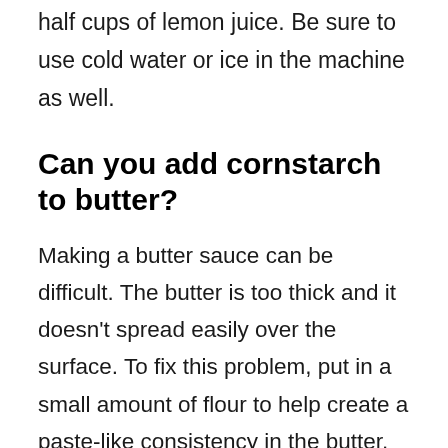half cups of lemon juice. Be sure to use cold water or ice in the machine as well.
Can you add cornstarch to butter?
Making a butter sauce can be difficult. The butter is too thick and it doesn't spread easily over the surface. To fix this problem, put in a small amount of flour to help create a paste-like consistency in the butter. Butter can be too runny or too